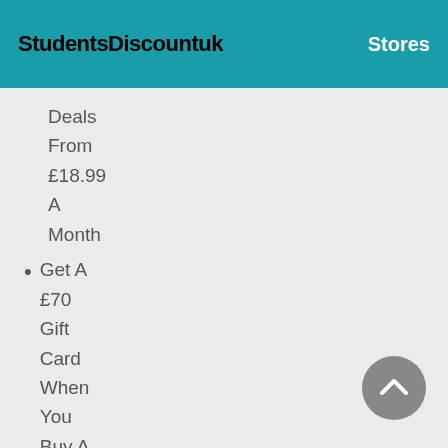StudentsDiscountuk   Stores
Deals From £18.99 A Month
Get A £70 Gift Card When You Buy A Fibre Package From Plusnet NO